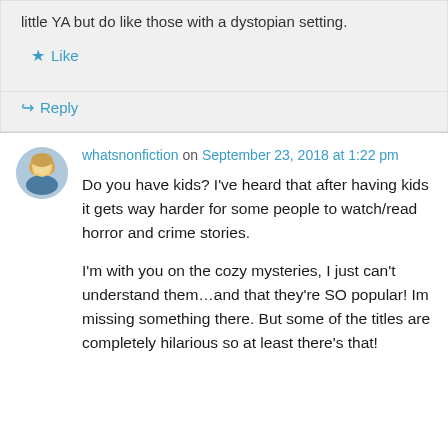little YA but do like those with a dystopian setting.
★ Like
↪ Reply
whatsnonfiction on September 23, 2018 at 1:22 pm
Do you have kids? I've heard that after having kids it gets way harder for some people to watch/read horror and crime stories.
I'm with you on the cozy mysteries, I just can't understand them…and that they're SO popular! Im missing something there. But some of the titles are completely hilarious so at least there's that!